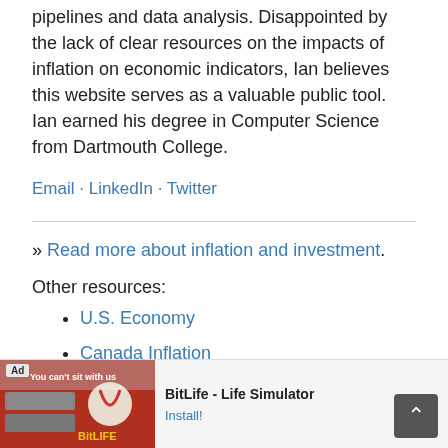pipelines and data analysis. Disappointed by the lack of clear resources on the impacts of inflation on economic indicators, Ian believes this website serves as a valuable public tool. Ian earned his degree in Computer Science from Dartmouth College.
Email · LinkedIn · Twitter
» Read more about inflation and investment.
Other resources:
U.S. Economy
Canada Inflation
U.K. Inflation
Australia Inflation
Eur…
Ver…
[Figure (screenshot): Advertisement banner at the bottom: BitLife - Life Simulator ad with Install! button and a back-to-top arrow button]